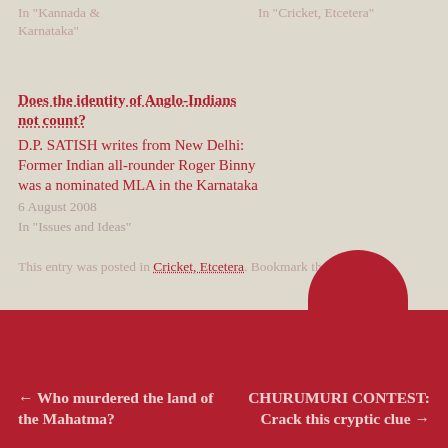In "Kannada & Karnataka"
In "Cricket, Etcetera"
Does the identity of Anglo-Indians not count?
D.P. SATISH writes from New Delhi: Former Indian all-rounder Roger Binny was a nominated MLA in the Karnataka
6 August 2008
In "Issues and Ideas"
This entry was posted in Cricket, Etcetera. Bookmark the permalink.
← Who murdered the land of the Mahatma?
CHURUMURI CONTEST: Crack this cryptic clue →